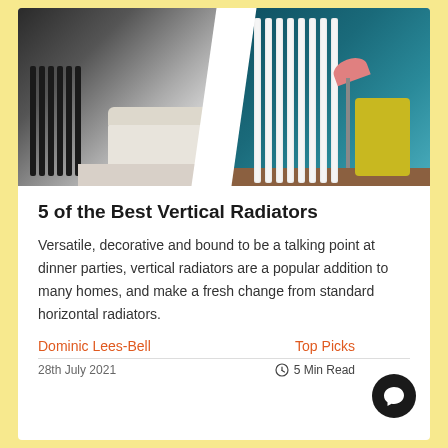[Figure (photo): Split image showing two interior scenes with vertical radiators. Left half: dark vertical radiator against wall in modern living room with light-colored sofa and large windows. Right half: white vertical radiator against teal/blue wall in interior scene with yellow armchair and pink floor lamp.]
5 of the Best Vertical Radiators
Versatile, decorative and bound to be a talking point at dinner parties, vertical radiators are a popular addition to many homes, and make a fresh change from standard horizontal radiators.
Dominic Lees-Bell
Top Picks
28th July 2021
5 Min Read